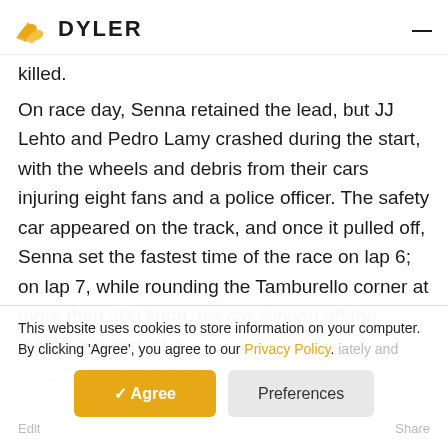DYLER
killed.
On race day, Senna retained the lead, but JJ Lehto and Pedro Lamy crashed during the start, with the wheels and debris from their cars injuring eight fans and a police officer. The safety car appeared on the track, and once it pulled off, Senna set the fastest time of the race on lap 6; on lap 7, while rounding the Tamburello corner at more than 300 km/h, his car slipped off the racing line and hit a concrete wall at 253 km/h.
This website uses cookies to store information on your computer. By clicking 'Agree', you agree to our Privacy Policy.